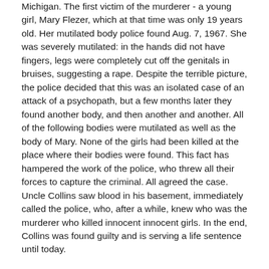Michigan. The first victim of the murderer - a young girl, Mary Flezer, which at that time was only 19 years old. Her mutilated body police found Aug. 7, 1967. She was severely mutilated: in the hands did not have fingers, legs were completely cut off the genitals in bruises, suggesting a rape. Despite the terrible picture, the police decided that this was an isolated case of an attack of a psychopath, but a few months later they found another body, and then another and another. All of the following bodies were mutilated as well as the body of Mary. None of the girls had been killed at the place where their bodies were found. This fact has hampered the work of the police, who threw all their forces to capture the criminal. All agreed the case. Uncle Collins saw blood in his basement, immediately called the police, who, after a while, knew who was the murderer who killed innocent innocent girls. In the end, Collins was found guilty and is serving a life sentence until today.